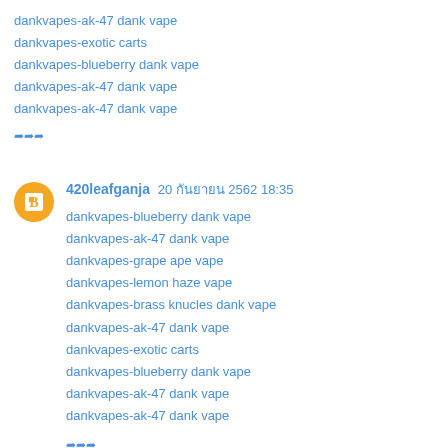dankvapes-ak-47 dank vape
dankvapes-exotic carts
dankvapes-blueberry dank vape
dankvapes-ak-47 dank vape
dankvapes-ak-47 dank vape
ตอบกลับ
420leafganja  20 กันยายน 2562 18:35
dankvapes-blueberry dank vape
dankvapes-ak-47 dank vape
dankvapes-grape ape vape
dankvapes-lemon haze vape
dankvapes-brass knucles dank vape
dankvapes-ak-47 dank vape
dankvapes-exotic carts
dankvapes-blueberry dank vape
dankvapes-ak-47 dank vape
dankvapes-ak-47 dank vape
ตอบกลับ